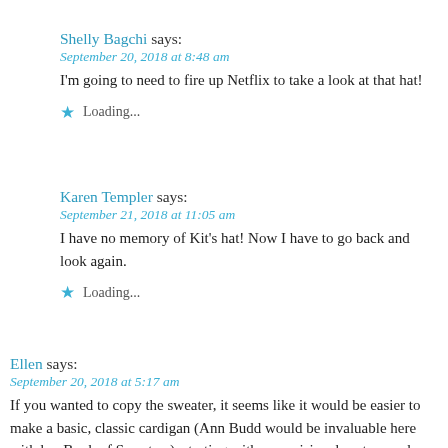Shelly Bagchi says:
September 20, 2018 at 8:48 am
I'm going to need to fire up Netflix to take a look at that hat!
Loading...
Karen Templer says:
September 21, 2018 at 11:05 am
I have no memory of Kit's hat! Now I have to go back and look again.
Loading...
Ellen says:
September 20, 2018 at 5:17 am
If you wanted to copy the sweater, it seems like it would be easier to make a basic, classic cardigan (Ann Budd would be invaluable here with her Book of Sweaters), starting with a provisional cast on and minus the bottom